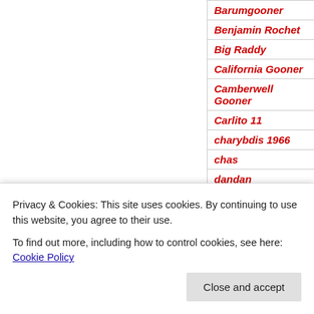| Name |
| --- |
| Barumgooner |
| Benjamin Rochet |
| Big Raddy |
| California Gooner |
| Camberwell Gooner |
| Carlito 11 |
| charybdis 1966 |
| chas |
| dandan |
| Double98 |
| Els |
| evonne |
| fergalburger |
| fred1266 |
| Geoff Strong |
| Ghostface |
| GoonerB |
| Gooner in Exile |
| IrishGunner |
| Henry |
Privacy & Cookies: This site uses cookies. By continuing to use this website, you agree to their use. To find out more, including how to control cookies, see here: Cookie Policy